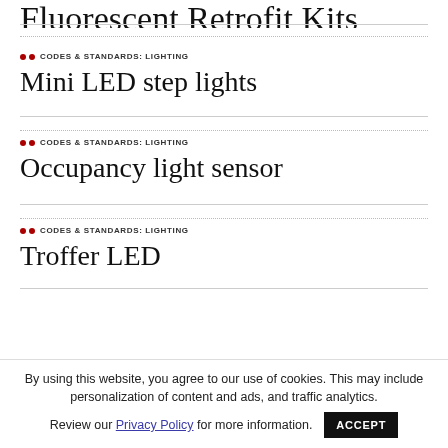Fluorescent Retrofit Kits
•• CODES & STANDARDS: LIGHTING
Mini LED step lights
•• CODES & STANDARDS: LIGHTING
Occupancy light sensor
•• CODES & STANDARDS: LIGHTING
Troffer LED
By using this website, you agree to our use of cookies. This may include personalization of content and ads, and traffic analytics. Review our Privacy Policy for more information.